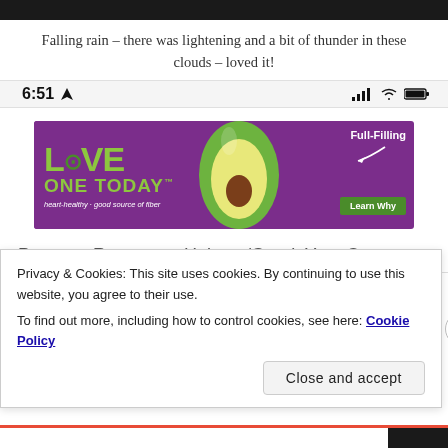[Figure (screenshot): Dark top bar of a mobile screenshot]
Falling rain – there was lightening and a bit of thunder in these clouds – loved it!
[Figure (screenshot): Mobile status bar showing time 6:51 with location arrow, signal bars, wifi icon, and battery icon]
[Figure (other): Love One Today avocado advertisement banner: purple background with green LOVE ONE TODAY text, avocado image, Full-Filling text with arrow, Learn Why button, heart-healthy good source of fiber tagline]
Passage Resources Hebrew/Greek Your Content
Matthew 22   Matthew 25
Privacy & Cookies: This site uses cookies. By continuing to use this website, you agree to their use.
To find out more, including how to control cookies, see here: Cookie Policy
Close and accept